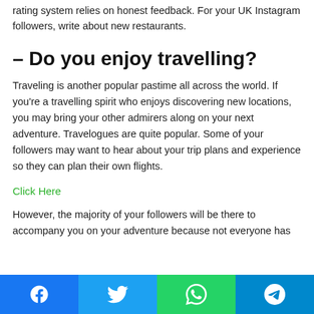rating system relies on honest feedback. For your UK Instagram followers, write about new restaurants.
– Do you enjoy travelling?
Traveling is another popular pastime all across the world. If you're a travelling spirit who enjoys discovering new locations, you may bring your other admirers along on your next adventure. Travelogues are quite popular. Some of your followers may want to hear about your trip plans and experience so they can plan their own flights.
Click Here
However, the majority of your followers will be there to accompany you on your adventure because not everyone has
Facebook | Twitter | WhatsApp | Telegram